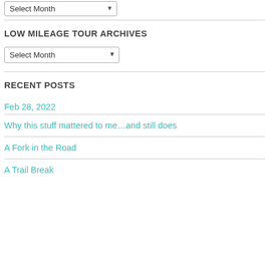[Figure (screenshot): Select Month dropdown widget at the top of the page]
LOW MILEAGE TOUR ARCHIVES
[Figure (screenshot): Select Month dropdown widget under Low Mileage Tour Archives]
RECENT POSTS
Feb 28, 2022
Why this stuff mattered to me…and still does
A Fork in the Road
A Trail Break